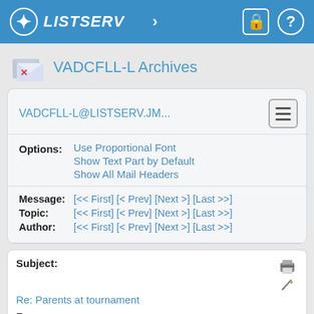LISTSERV
VADCFLL-L Archives
VADCFLL-L@LISTSERV.JM...
Options: Use Proportional Font | Show Text Part by Default | Show All Mail Headers
Message: [<< First] [< Prev] [Next >] [Last >>]
Topic: [<< First] [< Prev] [Next >] [Last >>]
Author: [<< First] [< Prev] [Next >] [Last >>]
Subject: Re: Parents at tournament
From: Darlene Pantaleo <[log in to unmask]>
Reply To: Darlene Pantaleo <[log in to unmask]>